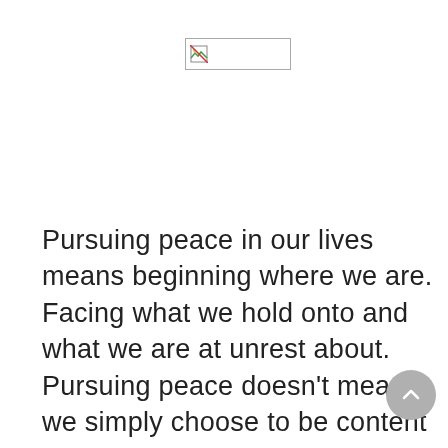[Figure (illustration): Broken image placeholder icon in upper center area of page]
Pursuing peace in our lives means beginning where we are. Facing what we hold onto and what we are at unrest about. Pursuing peace doesn't mean we simply choose to be content with things the way they are or were, but to pursue contentment